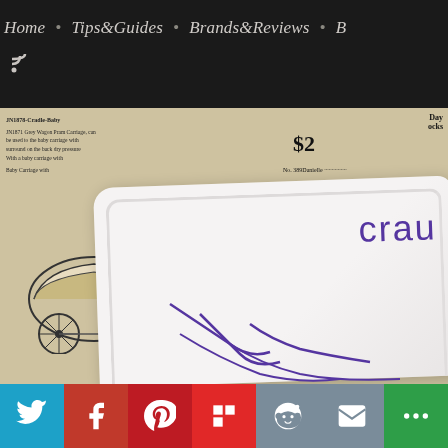Home • Tips&Guides • Brands&Reviews • B
[Figure (photo): Photo of a white tray/dish placed on top of vintage newspaper pages showing a baby carriage illustration. The tray has purple crayon writing and drawing on it, with text 'crau' visible and purple crayon lines drawn on the white surface.]
Twitter, Facebook, Pinterest, Flipboard, Reddit, Email, More social sharing buttons